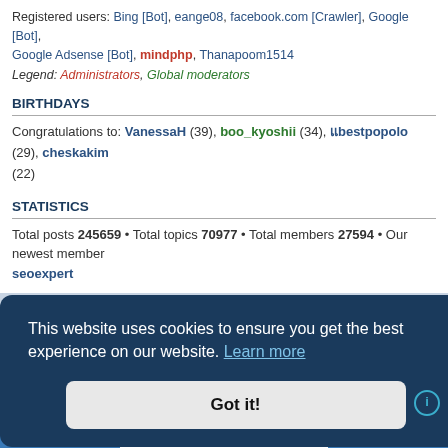Registered users: Bing [Bot], eange08, facebook.com [Crawler], Google [Bot], Google Adsense [Bot], mindphp, Thanapoom1514
Legend: Administrators, Global moderators
BIRTHDAYS
Congratulations to: VanessaH (39), boo_kyoshii (34), แbestpopolo (29), cheskakim (22)
STATISTICS
Total posts 245659 • Total topics 70977 • Total members 27594 • Our newest member seoexpert
Powered by phpBB® Forum Software © phpBB Limited
Thai language by Mindphp.com & phpBBThailand.com
This website uses cookies to ensure you get the best experience on our website. Learn more
Got it!